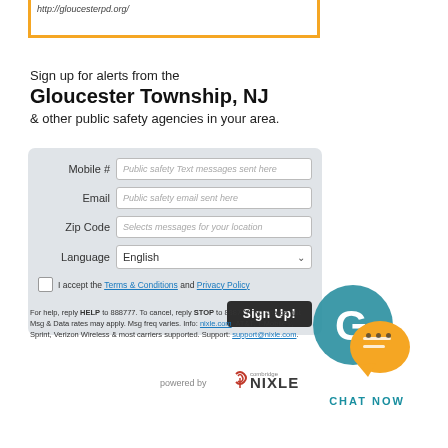[Figure (screenshot): Top portion of orange-bordered box with partial URL text visible]
Sign up for alerts from the
Gloucester Township, NJ
& other public safety agencies in your area.
[Figure (screenshot): Web form with fields: Mobile # (Public safety Text messages sent here), Email (Public safety email sent here), Zip Code (Selects messages for your location), Language (English dropdown), checkbox for Terms & Conditions and Privacy Policy, Sign Up! button]
For help, reply HELP to 888777. To cancel, reply STOP to 888777. No charge but Msg & Data rates may apply. Msg freq varies. Info: nixle.com. AT&T, T-Mobile®, Sprint, Verizon Wireless & most carriers supported. Support: support@nixle.com.
[Figure (logo): powered by Nixle (Combridge) logo]
[Figure (logo): Chat Now logo with teal G and orange chat bubble icon]